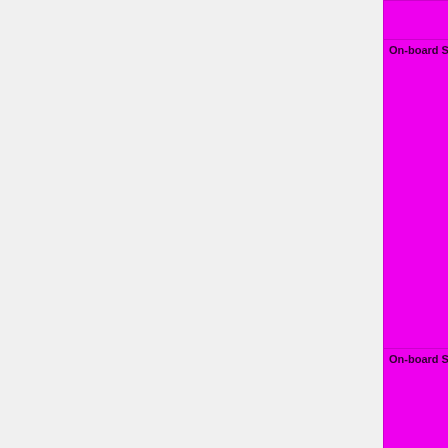| Feature | Status |
| --- | --- |
|  | yellow }}" | N/A=lightgray yellow }}" | N/A |
| On-board SATA | OK=lime | TODO=red | No=red | WIP=orange | Untested=yellow | N/A=lightgray yellow }}" | N/A |
| On-board SCSI | OK=lime | TODO=red | No=red | WIP=orange | Untested=yellow | N/A=lightgra yellow }}" | N/A |
| On-board USB | OK=lime | TODO=red | No=red | WIP=orange | Untested=yellow | N/A=lightgra yellow }}" | N/A |
| On-board VGA | OK=lime | |